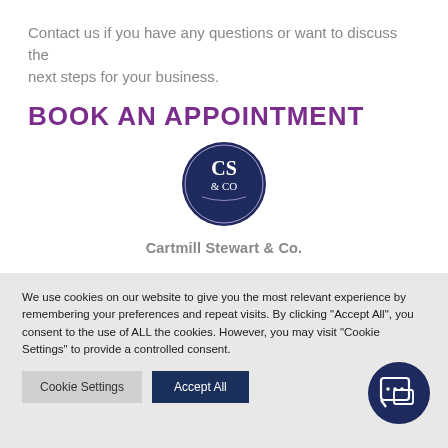Contact us if you have any questions or want to discuss the next steps for your business.
BOOK AN APPOINTMENT
[Figure (logo): CS & Co circular logo with dark navy blue background and white text]
Cartmill Stewart & Co.
We use cookies on our website to give you the most relevant experience by remembering your preferences and repeat visits. By clicking "Accept All", you consent to the use of ALL the cookies. However, you may visit "Cookie Settings" to provide a controlled consent.
[Figure (illustration): Chat bubble icon button (dark navy circle with speech bubble icon) for live chat]